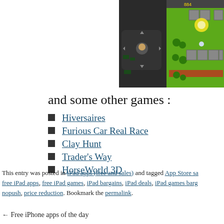[Figure (screenshot): A top-down 2D mobile game screenshot showing a green field with obstacles, trees, and a character, with a D-pad controller on the left side.]
and some other games :
Hiversaires
Furious Car Real Race
Clay Hunt
Trader's Way
HorseWorld 3D
This entry was posted in iPad apps (free and sales) and tagged App Store sa... free iPad apps, free iPad games, iPad bargains, iPad deals, iPad games barg... nopush, price reduction. Bookmark the permalink.
← Free iPhone apps of the day